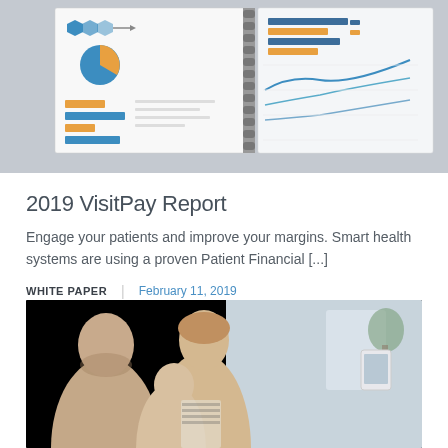[Figure (photo): Photo of an open spiral-bound report/notebook with charts, graphs, and data visualizations including hexagons, pie charts, bar charts, and line graphs on a grey background]
2019 VisitPay Report
Engage your patients and improve your margins. Smart health systems are using a proven Patient Financial [...]
WHITE PAPER   February 11, 2019
[Figure (photo): Photo of a family (man, woman, and young child) smiling together, looking at something, presumably in a home setting]